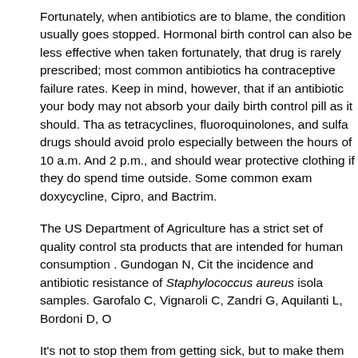Fortunately, when antibiotics are to blame, the condition usually goes stopped. Hormonal birth control can also be less effective when taken fortunately, that drug is rarely prescribed; most common antibiotics ha contraceptive failure rates. Keep in mind, however, that if an antibiotic your body may not absorb your daily birth control pill as it should. Tha as tetracyclines, fluoroquinolones, and sulfa drugs should avoid prolo especially between the hours of 10 a.m. And 2 p.m., and should wear protective clothing if they do spend time outside. Some common exam doxycycline, Cipro, and Bactrim.
The US Department of Agriculture has a strict set of quality control sta products that are intended for human consumption . Gundogan N, Cit the incidence and antibiotic resistance of Staphylococcus aureus isola samples. Garofalo C, Vignaroli C, Zandri G, Aquilanti L, Bordoni D, O
It's not to stop them from getting sick, but to make them gain weight. the European Union has banned all hormones in beef, and Japan, Ca the EU have banned rBGH. No major studies are under way in the U. hormones in meat and milk. [where to buy cbd gummies in miami] Hor suspected of contributing to early puberty in children, although the lin question that the age of puberty has been decreasing in the U.S. But improved nutrition and health, not to second helpings of hormones in
Besides contaminants left over from industrial processes, the industri